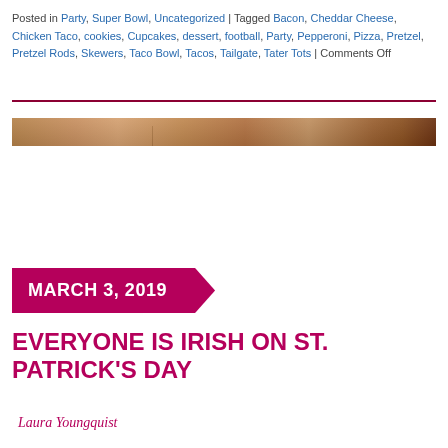Posted in Party, Super Bowl, Uncategorized | Tagged Bacon, Cheddar Cheese, Chicken Taco, cookies, Cupcakes, dessert, football, Party, Pepperoni, Pizza, Pretzel, Pretzel Rods, Skewers, Taco Bowl, Tacos, Tailgate, Tater Tots | Comments Off
[Figure (photo): A narrow horizontal strip photo showing what appears to be pretzel rods or food items in warm brown tones]
MARCH 3, 2019
EVERYONE IS IRISH ON ST. PATRICK'S DAY
Laura Youngquist